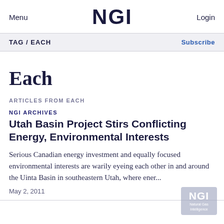Menu  NGI  Login
TAG / EACH   Subscribe
Each
ARTICLES FROM EACH
NGI ARCHIVES
Utah Basin Project Stirs Conflicting Energy, Environmental Interests
Serious Canadian energy investment and equally focused environmental interests are warily eyeing each other in and around the Uinta Basin in southeastern Utah, where ener...
May 2, 2011